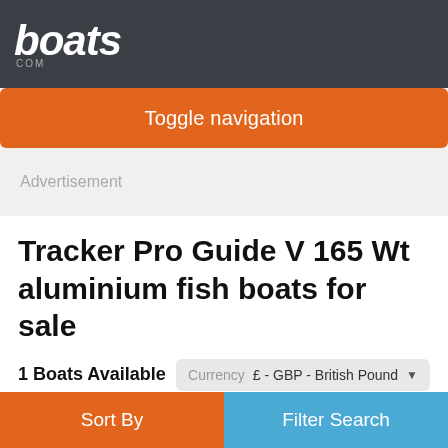boats.com
Toggle navigation
Advertisement
Tracker Pro Guide V 165 Wt aluminium fish boats for sale
1 Boats Available
Currency £ - GBP - British Pound
44
Sort By  Filter Search